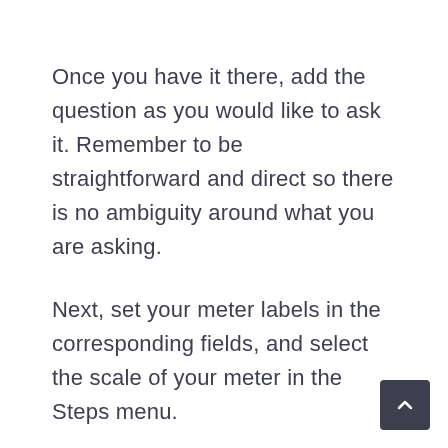Once you have it there, add the question as you would like to ask it. Remember to be straightforward and direct so there is no ambiguity around what you are asking.
Next, set your meter labels in the corresponding fields, and select the scale of your meter in the Steps menu.